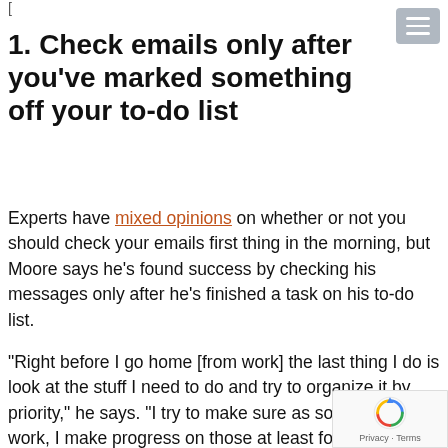[partially visible header text at top]
1. Check emails only after you've marked something off your to-do list
Experts have mixed opinions on whether or not you should check your emails first thing in the morning, but Moore says he's found success by checking his messages only after he's finished a task on his to-do list.
“Right before I go home [from work] the last thing I do is look at the stuff I need to do and try to organize it by priority,” he says. “I try to make sure as soon as I get to work, I make progress on those at least for an hour before I look at my emails.”
Bestselling author Michelle Gielan argues that